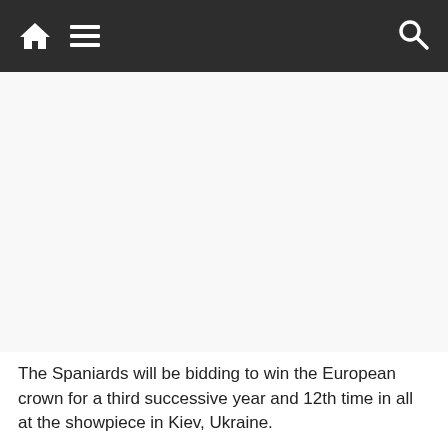Navigation bar with home icon, menu icon, and search icon
[Figure (other): Advertisement placeholder area (blank white/light gray space)]
The Spaniards will be bidding to win the European crown for a third successive year and 12th time in all at the showpiece in Kiev, Ukraine.
[Figure (photo): Crowd of soccer fans celebrating with a large UEFA Champions League trophy being held aloft by a player in white jersey, crowd in background]